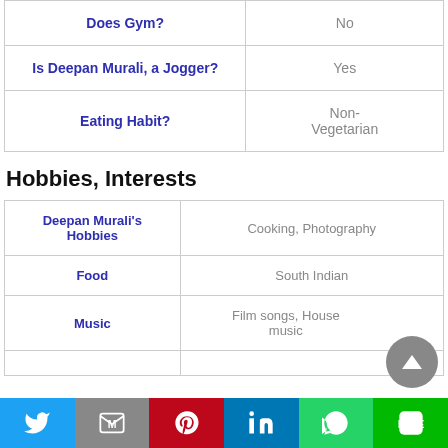|  |  |
| --- | --- |
| Does Gym? | No |
| Is Deepan Murali, a Jogger? | Yes |
| Eating Habit? | Non-Vegetarian |
Hobbies, Interests
|  |  |
| --- | --- |
| Deepan Murali's Hobbies | Cooking, Photography |
| Food | South Indian |
| Music | Film songs, House music |